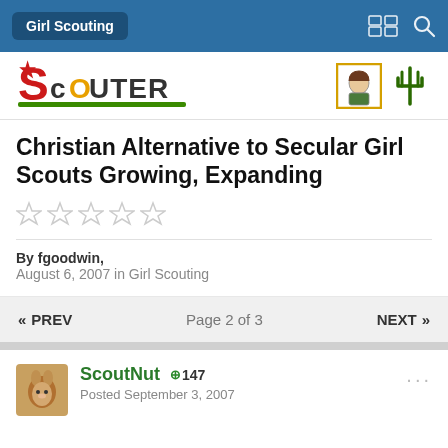Girl Scouting
[Figure (logo): Scouter website logo with red stylized S and green underline, plus two small scout-related images on the right]
Christian Alternative to Secular Girl Scouts Growing, Expanding
By fgoodwin,
August 6, 2007 in Girl Scouting
« PREV   Page 2 of 3   NEXT »
ScoutNut +147
Posted September 3, 2007